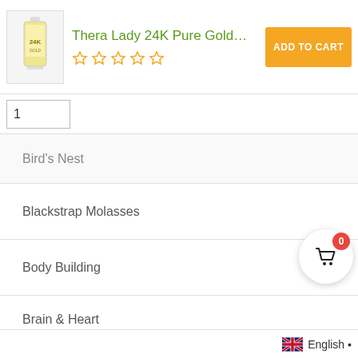[Figure (screenshot): Product header with thumbnail of Thera Lady 24K Pure Gold Ampo bottle, star rating, and Add to Cart button]
Thera Lady 24K Pure Gold Ampo...
Bird's Nest
Blackstrap Molasses
Body Building
Brain & Heart
Breast Enhancer
Breast Health
Breastfeeding
English ▪